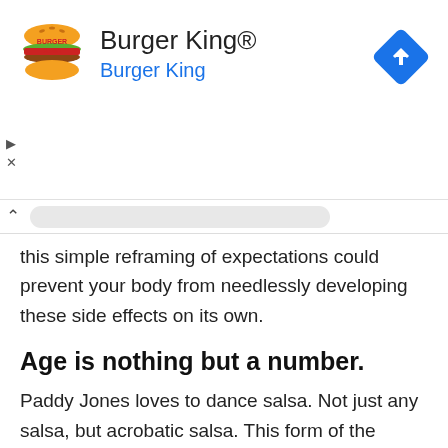[Figure (logo): Burger King advertisement banner with Burger King logo, title 'Burger King®', subtitle 'Burger King', and a blue navigation/directions diamond icon in the top right. Ad controls (play and close buttons) on the left side.]
...this simple reframing of expectations could prevent your body from needlessly developing these side effects on its own.
Age is nothing but a number.
Paddy Jones loves to dance salsa. Not just any salsa, but acrobatic salsa. This form of the dance involves swinging through the air on trapezes and requires perfect agility and poise. Jones is good at acrobatic salsa, too. So good, in fact, that she and her dance partner Nicko have been featured in